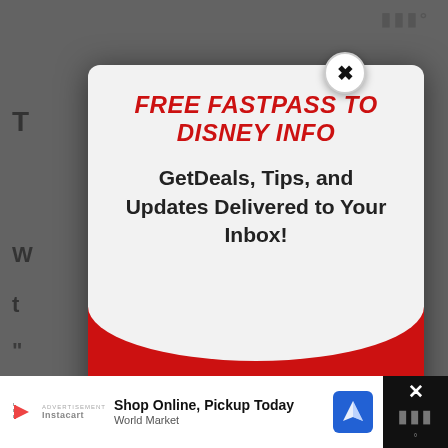[Figure (screenshot): Website popup modal for Disney information newsletter signup. Red background with white top section. Title reads FREE FASTPASS TO DISNEY INFO in bold red italic uppercase. Subtitle reads GetDeals, Tips, and Updates Delivered to Your Inbox!. Email input field and black SUBSCRIBE! button. Close X button in top right corner. Background shows partially visible article text in gray.]
Email
SUBSCRIBE!
FREE FASTPASS TO DISNEY INFO
GetDeals, Tips, and Updates Delivered to Your Inbox!
Shop Online, Pickup Today
Curbside pickup  Delivery